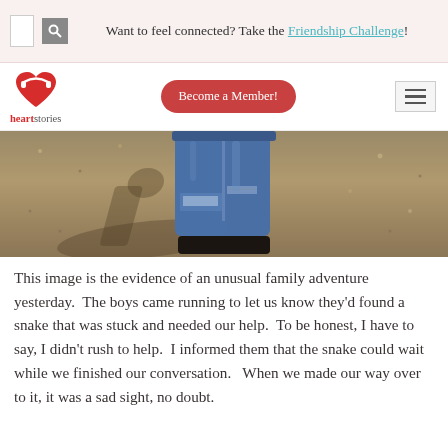Want to feel connected? Take the Friendship Challenge!
[Figure (screenshot): Website navigation bar with heartstories logo (red heart icon), a red 'Become a Member!' button, and a hamburger menu icon]
[Figure (photo): Photo of a person's legs in ripped blue jeans standing on sandy/gravelly ground, with shadow visible]
This image is the evidence of an unusual family adventure yesterday.  The boys came running to let us know they'd found a snake that was stuck and needed our help.  To be honest, I have to say, I didn't rush to help.  I informed them that the snake could wait while we finished our conversation.   When we made our way over to it, it was a sad sight, no doubt.